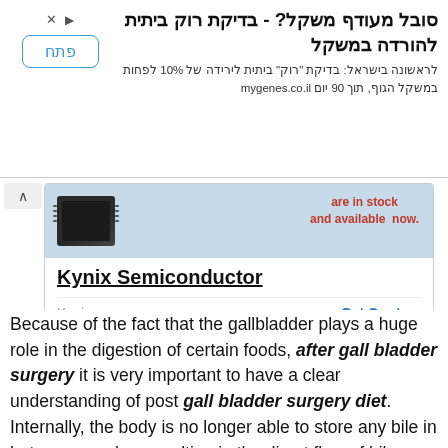[Figure (screenshot): Hebrew language advertisement banner: 'סובל מעודף משקל? - בדיקת רוק ביתית להורדה במשקל' with a 'פתח' (Open) button and subtext about mygenes.co.il]
[Figure (screenshot): Kynix Semiconductor advertisement card showing a chip image, 'are in stock and available now.' text in red, company name with underline, Kynix branding and Get Quote button]
Because of the fact that the gallbladder plays a huge role in the digestion of certain foods, after gall bladder surgery it is very important to have a clear understanding of post gall bladder surgery diet. Internally, the body is no longer able to store any bile in between meals – resulting in the direct flow of bile